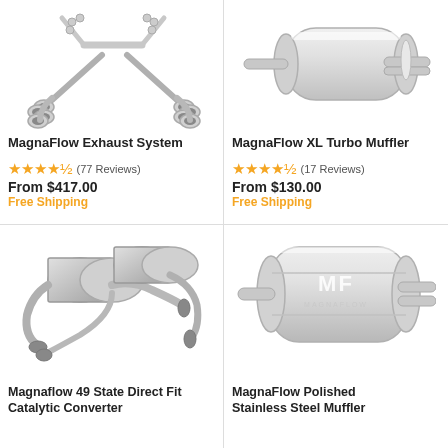[Figure (photo): MagnaFlow exhaust system parts including pipes, tips, and hardware on white background]
MagnaFlow Exhaust System
★★★★½ (77 Reviews)
From $417.00
Free Shipping
[Figure (photo): MagnaFlow XL Turbo Muffler, silver stainless steel oval muffler on white background]
MagnaFlow XL Turbo Muffler
★★★★½ (17 Reviews)
From $130.00
Free Shipping
[Figure (photo): Magnaflow 49 State Direct Fit Catalytic Converter parts on white background]
Magnaflow 49 State Direct Fit Catalytic Converter
[Figure (photo): MagnaFlow Polished Stainless Steel Muffler with MF logo on white background]
MagnaFlow Polished Stainless Steel Muffler